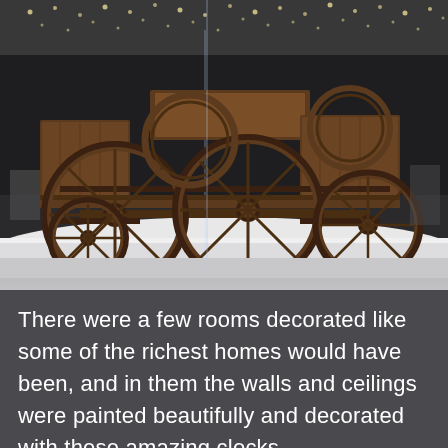[Figure (photo): A museum display of an antique wooden wagon or cart with large spoked wheels, displayed on a white platform under dramatic ceiling lights. The wooden wagon has multiple wheels and appears to be a historical artifact shown in a dimly lit exhibition hall with tiny lights visible on the ceiling.]
There were a few rooms decorated like some of the richest homes would have been, and in them the walls and ceilings were painted beautifully and decorated with these amazing clocks.